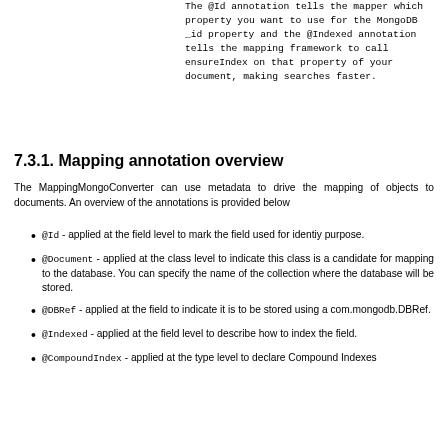The @Id annotation tells the mapper which property you want to use for the MongoDB _id property and the @Indexed annotation tells the mapping framework to call ensureIndex on that property of your document, making searches faster.
7.3.1. Mapping annotation overview
The MappingMongoConverter can use metadata to drive the mapping of objects to documents. An overview of the annotations is provided below
@Id - applied at the field level to mark the field used for identiy purpose.
@Document - applied at the class level to indicate this class is a candidate for mapping to the database. You can specify the name of the collection where the database will be stored.
@DBRef - applied at the field to indicate it is to be stored using a com.mongodb.DBRef.
@Indexed - applied at the field level to describe how to index the field.
@CompoundIndex - applied at the type level to declare Compound Indexes